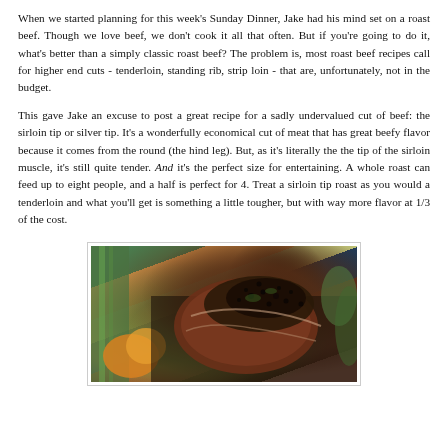When we started planning for this week's Sunday Dinner, Jake had his mind set on a roast beef. Though we love beef, we don't cook it all that often. But if you're going to do it, what's better than a simply classic roast beef? The problem is, most roast beef recipes call for higher end cuts - tenderloin, standing rib, strip loin - that are, unfortunately, not in the budget.

This gave Jake an excuse to post a great recipe for a sadly undervalued cut of beef: the sirloin tip or silver tip. It's a wonderfully economical cut of meat that has great beefy flavor because it comes from the round (the hind leg). But, as it's literally the the tip of the sirloin muscle, it's still quite tender. And it's the perfect size for entertaining. A whole roast can feed up to eight people, and a half is perfect for 4. Treat a sirloin tip roast as you would a tenderloin and what you'll get is something a little tougher, but with way more flavor at 1/3 of the cost.
[Figure (photo): Close-up photograph of a sirloin tip roast with herb/pepper crust on a platter surrounded by vegetables including celery and orange/yellow peppers]